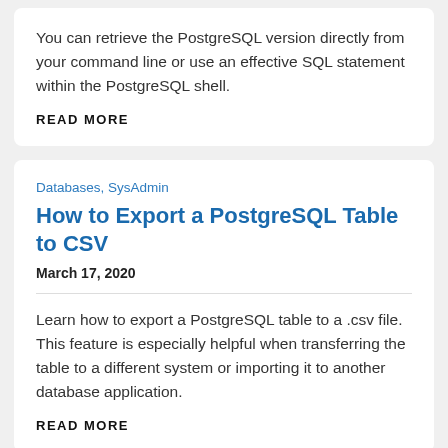You can retrieve the PostgreSQL version directly from your command line or use an effective SQL statement within the PostgreSQL shell.
READ MORE
Databases, SysAdmin
How to Export a PostgreSQL Table to CSV
March 17, 2020
Learn how to export a PostgreSQL table to a .csv file. This feature is especially helpful when transferring the table to a different system or importing it to another database application.
READ MORE